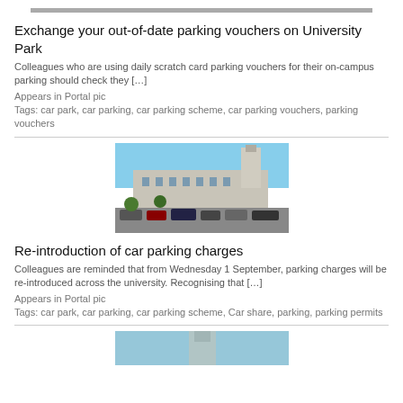[Figure (photo): Top of a building photo, partially cropped at top of page]
Exchange your out-of-date parking vouchers on University Park
Colleagues who are using daily scratch card parking vouchers for their on-campus parking should check they […]
Appears in Portal pic
Tags: car park, car parking, car parking scheme, car parking vouchers, parking vouchers
[Figure (photo): University building with clock tower and car park in foreground]
Re-introduction of car parking charges
Colleagues are reminded that from Wednesday 1 September, parking charges will be re-introduced across the university. Recognising that […]
Appears in Portal pic
Tags: car park, car parking, car parking scheme, Car share, parking, parking permits
[Figure (photo): University building with clock tower, partially cropped at bottom of page]